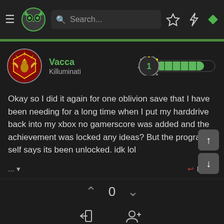[Figure (screenshot): Dark-themed gaming forum (TA/TrueAchievements style) mobile app screenshot. Top navigation bar with hamburger menu, green owl-like logo, search bar, star icon, lightning icon, and green diamond icon. Green separator bar below nav.]
Vacca
Killuminati
Okay so I did it again for one oblivion save that I have been needing for a long time when I put my harddrive back into my xbox no gamerscore was added and the achievement was locked any ideas? But the program it self says its been unlocked. idk lol
... ▾
↩ Reply
0
Login
Register